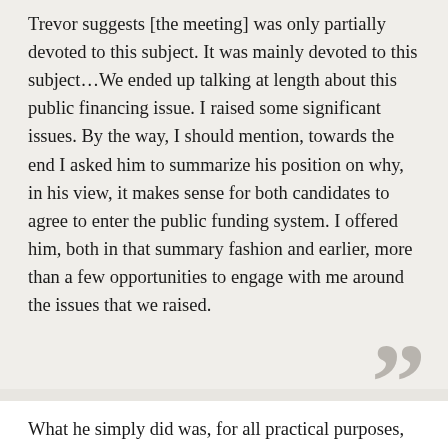Trevor suggests [the meeting] was only partially devoted to this subject. It was mainly devoted to this subject…We ended up talking at length about this public financing issue. I raised some significant issues. By the way, I should mention, towards the end I asked him to summarize his position on why, in his view, it makes sense for both candidates to agree to enter the public funding system. I offered him, both in that summary fashion and earlier, more than a few opportunities to engage with me around the issues that we raised.
What he simply did was, for all practical purposes, deflect them by telling me that we need not be concerned about them. It seems to me that if we